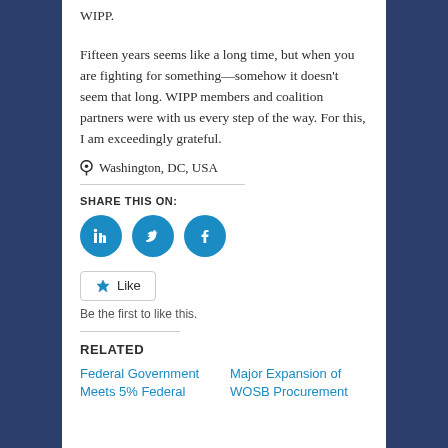WIPP.
Fifteen years seems like a long time, but when you are fighting for something—somehow it doesn't seem that long. WIPP members and coalition partners were with us every step of the way. For this, I am exceedingly grateful.
Washington, DC, USA
SHARE THIS ON:
[Figure (other): Social media share icons: LinkedIn, Twitter, Facebook — blue circles with white icons]
Like
Be the first to like this.
RELATED
Federal Government Meets 5% Federal
Major Expansion of WOSB Procurement